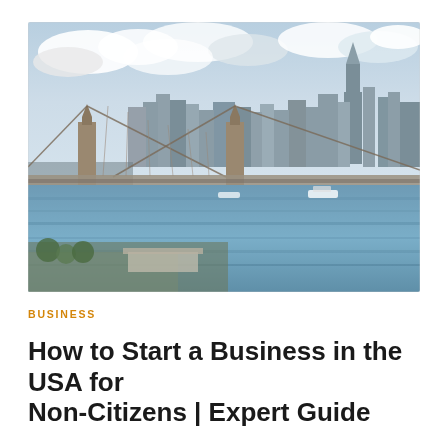[Figure (photo): Aerial photograph of New York City skyline with Brooklyn Bridge in the foreground spanning the East River, with Manhattan skyscrapers including One World Trade Center visible in the background, under a partly cloudy sky.]
BUSINESS
How to Start a Business in the USA for Non-Citizens | Expert Guide